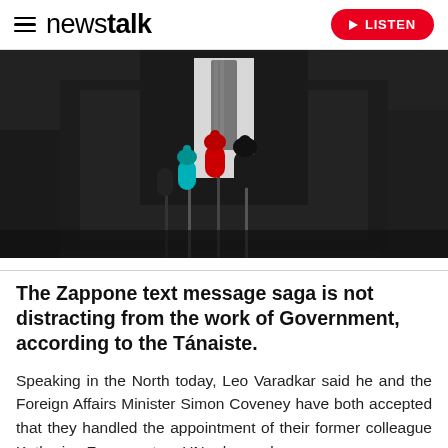newstalk — LISTEN
[Figure (photo): A man in a dark suit and tie speaking at a press conference podium with multiple microphones including RTÉ (blue/teal) and red-branded microphones.]
The Zappone text message saga is not distracting from the work of Government, according to the Tánaiste.
Speaking in the North today, Leo Varadkar said he and the Foreign Affairs Minister Simon Coveney have both accepted that they handled the appointment of their former colleague Katherine Zappone to a UN role poorly.